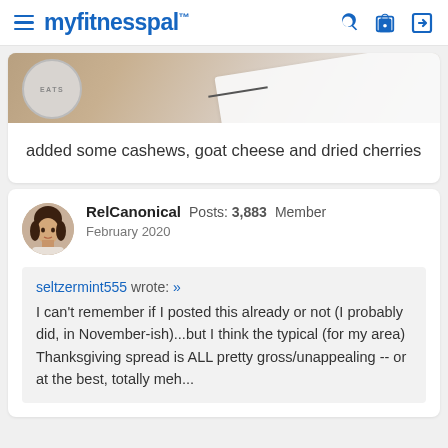myfitnesspal
[Figure (photo): Partial photo of a plate with food, showing edge of a circular dish and white paper/napkin in background. Text label shows 'EATS'.]
added some cashews, goat cheese and dried cherries
RelCanonical  Posts: 3,883  Member
February 2020
seltzermint555 wrote: »
I can't remember if I posted this already or not (I probably did, in November-ish)...but I think the typical (for my area) Thanksgiving spread is ALL pretty gross/unappealing -- or at the best, totally meh...